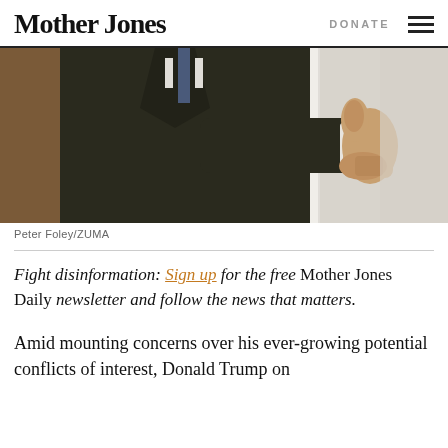Mother Jones | DONATE
[Figure (photo): Person in dark suit giving thumbs up gesture, cropped at torso level, near a white door]
Peter Foley/ZUMA
Fight disinformation: Sign up for the free Mother Jones Daily newsletter and follow the news that matters.
Amid mounting concerns over his ever-growing potential conflicts of interest, Donald Trump on